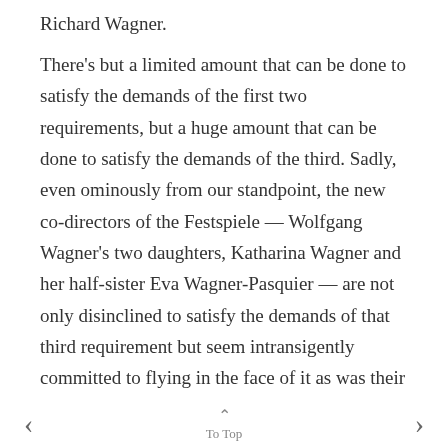Richard Wagner.

There's but a limited amount that can be done to satisfy the demands of the first two requirements, but a huge amount that can be done to satisfy the demands of the third. Sadly, even ominously from our standpoint, the new co-directors of the Festspiele — Wolfgang Wagner's two daughters, Katharina Wagner and her half-sister Eva Wagner-Pasquier — are not only disinclined to satisfy the demands of that third requirement but seem intransigently committed to flying in the face of it as was their father before them. in the false and perverse
< ^ To Top >